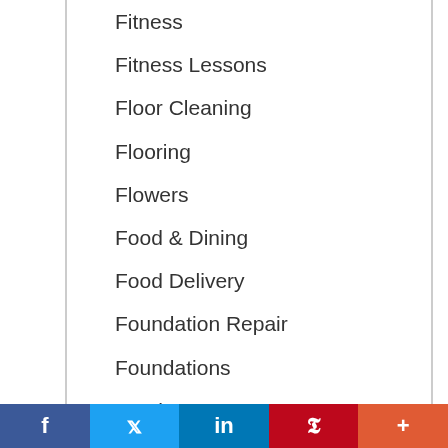Fitness
Fitness Lessons
Floor Cleaning
Flooring
Flowers
Food & Dining
Food Delivery
Foundation Repair
Foundations
Freelancers
Fundraisers
Funeral Homes and Services
Furnaces
Furniture
f  Twitter  in  P  +